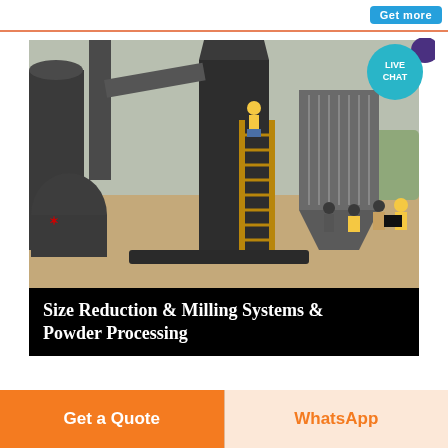[Figure (photo): Industrial milling/size reduction equipment installation outdoors. A large dark metal processing unit with a ladder leaning against it, a worker in yellow shirt sitting on top, and a group of workers visible to the right. Background shows a cleared landscape. A 'Live Chat' speech bubble icon overlays the top-right corner.]
Size Reduction & Milling Systems & Powder Processing
Get a Quote
WhatsApp